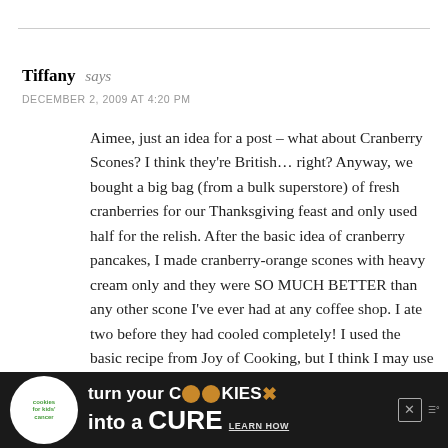Tiffany says
DECEMBER 2, 2009 AT 4:20 PM
Aimee, just an idea for a post – what about Cranberry Scones? I think they're British… right? Anyway, we bought a big bag (from a bulk superstore) of fresh cranberries for our Thanksgiving feast and only used half for the relish. After the basic idea of cranberry pancakes, I made cranberry-orange scones with heavy cream only and they were SO MUCH BETTER than any other scone I've ever had at any coffee shop. I ate two before they had cooled completely! I used the basic recipe from Joy of Cooking, but I think I may use some fresh squeezed OJ in addition to the zest so I can taste more of the orange in the next batch. Maybe some vanilla too? I
[Figure (infographic): Green and black advertisement banner for 'cookies for kids cancer' — turn your COOKIES into a CURE LEARN HOW]